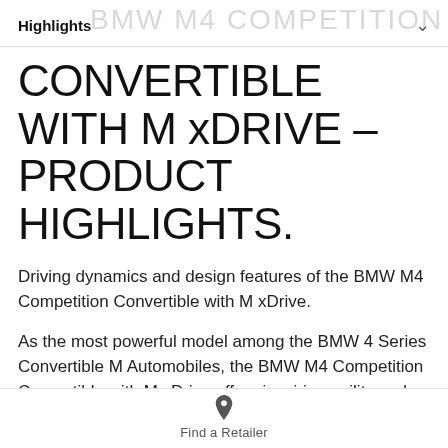Highlights  BMW M4 COMPETITION
CONVERTIBLE WITH M xDRIVE – PRODUCT HIGHLIGHTS.
Driving dynamics and design features of the BMW M4 Competition Convertible with M xDrive.
As the most powerful model among the BMW 4 Series Convertible M Automobiles, the BMW M4 Competition Convertible with M xDrive offers inspiring agility and reveals its impressive capabilities over every kilometre.
Find a Retailer